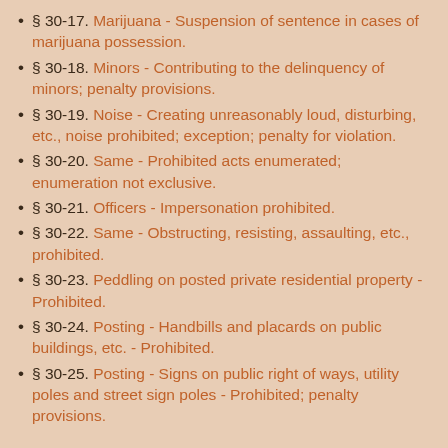§ 30-17. Marijuana - Suspension of sentence in cases of marijuana possession.
§ 30-18. Minors - Contributing to the delinquency of minors; penalty provisions.
§ 30-19. Noise - Creating unreasonably loud, disturbing, etc., noise prohibited; exception; penalty for violation.
§ 30-20. Same - Prohibited acts enumerated; enumeration not exclusive.
§ 30-21. Officers - Impersonation prohibited.
§ 30-22. Same - Obstructing, resisting, assaulting, etc., prohibited.
§ 30-23. Peddling on posted private residential property - Prohibited.
§ 30-24. Posting - Handbills and placards on public buildings, etc. - Prohibited.
§ 30-25. Posting - Signs on public right of ways, utility poles and street sign poles - Prohibited; penalty provisions.